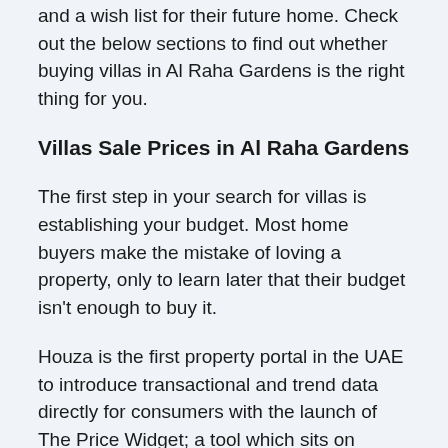and a wish list for their future home. Check out the below sections to find out whether buying villas in Al Raha Gardens is the right thing for you.
Villas Sale Prices in Al Raha Gardens
The first step in your search for villas is establishing your budget. Most home buyers make the mistake of loving a property, only to learn later that their budget isn't enough to buy it.
Houza is the first property portal in the UAE to introduce transactional and trend data directly for consumers with the launch of The Price Widget; a tool which sits on houza.com when property seekers are browsing for villa for sale. The Widget includes average price per square foot for villas for sale on a building and bedroom level, as well as % changes MoM for Al Raha Gardens. The feature is powered by transactional